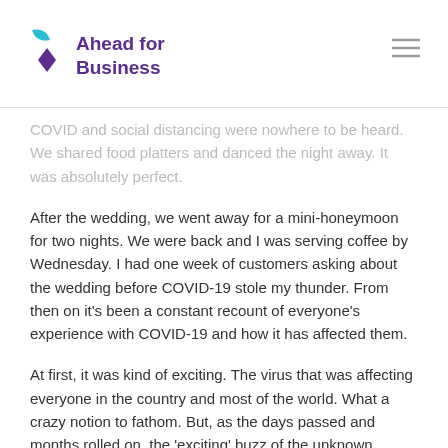Ahead for Business
COVID and social distancing were nowhere to be heard. We shared food platters and danced the night away. It was absolutely perfect.
After the wedding, we went away for a mini-honeymoon for two nights. We were back and I was serving coffee by Wednesday. I had one week of customers asking about the wedding before COVID-19 stole my thunder. From then on it's been a constant recount of everyone's experience with COVID-19 and how it has affected them.
At first, it was kind of exciting. The virus that was affecting everyone in the country and most of the world. What a crazy notion to fathom. But, as the days passed and months rolled on, the 'exciting' buzz of the unknown turned into frustration. I was